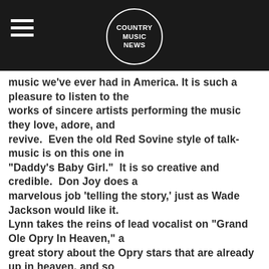COUNTRY MUSIC NEWS
music we’ve ever had in America. It is such a pleasure to listen to the works of sincere artists performing the music they love, adore, and revive.  Even the old Red Sovine style of talk-music is on this one in “Daddy’s Baby Girl.”  It is so creative and credible.  Don Joy does a marvelous job ‘telling the story,’ just as Wade Jackson would like it. Lynn takes the reins of lead vocalist on “Grand Ole Opry In Heaven,” a great story about the Opry stars that are already up in heaven, and so few yet remain for us below here on planet earth.  Don closes the album with a great version of “Room #10” which has a touch of the Bill Anderson style.  Great country music coming to us from Missouri, keep it